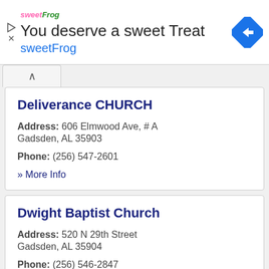[Figure (infographic): SweetFrog advertisement banner with logo, headline 'You deserve a sweet Treat', subtext 'sweetFrog', and a blue navigation direction icon]
Deliverance CHURCH
Address: 606 Elmwood Ave, # A Gadsden, AL 35903
Phone: (256) 547-2601
» More Info
Dwight Baptist Church
Address: 520 N 29th Street Gadsden, AL 35904
Phone: (256) 546-2847
» More Info